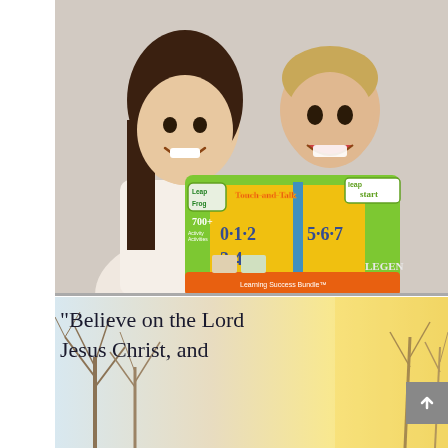[Figure (photo): Two children smiling and holding a LeapFrog LeapStart Touch-and-Talk Learning Success Bundle box. A girl with dark hair on the left and a boy with light hair on the right, both excited.]
[Figure (photo): Background photo of bare winter trees with warm yellow-orange light, overlaid with handwritten-style text reading: 'Believe on the Lord Jesus Christ, and']
"Believe on the Lord Jesus Christ, and